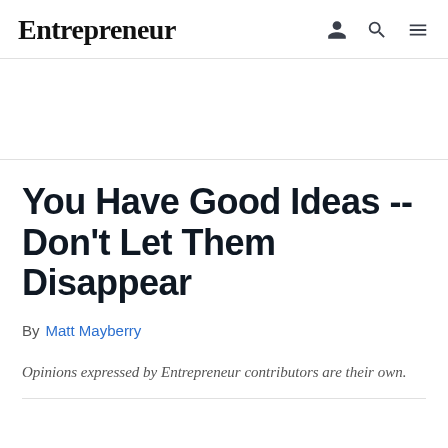Entrepreneur
You Have Good Ideas -- Don't Let Them Disappear
By Matt Mayberry
Opinions expressed by Entrepreneur contributors are their own.